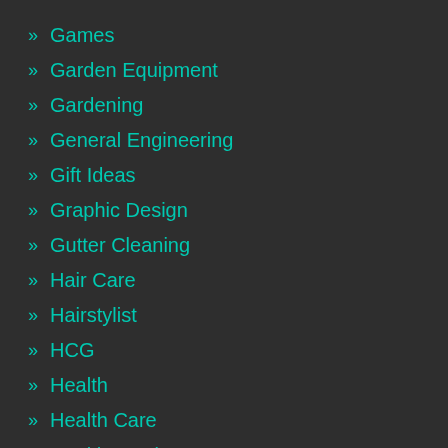Games
Garden Equipment
Gardening
General Engineering
Gift Ideas
Graphic Design
Gutter Cleaning
Hair Care
Hairstylist
HCG
Health
Health Care
Health Services
Healthy Foods